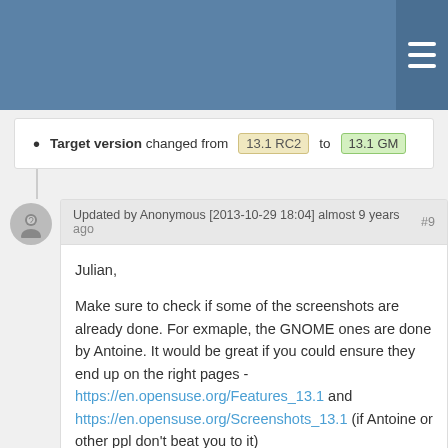Target version changed from 13.1 RC2 to 13.1 GM
Updated by Anonymous [2013-10-29 18:04] almost 9 years ago #9
Julian,

Make sure to check if some of the screenshots are already done. For exmaple, the GNOME ones are done by Antoine. It would be great if you could ensure they end up on the right pages - https://en.opensuse.org/Features_13.1 and https://en.opensuse.org/Screenshots_13.1 (if Antoine or other ppl don't beat you to it)

You can find a list of recently uploaded files here:
https://en.opensuse.org/Special:NewFiles